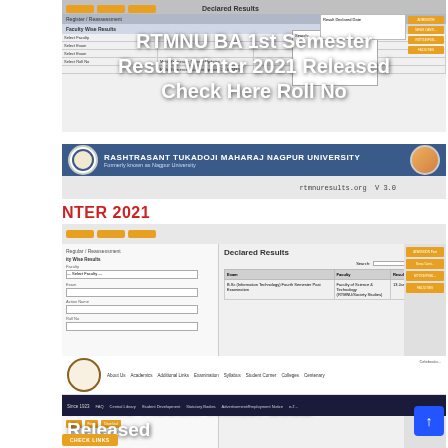[Figure (screenshot): Screenshot of RTMNU results website showing declared results table with faculty-wise results]
RTMNU BA 1st Semester Result Winter 2021 Released Check Here Roll No
[Figure (screenshot): Rashtrasant Tukadoji Maharaj Nagpur University banner with logo and rtmnuresults.org V 3.0]
NTER 2021
[Figure (screenshot): RTMNU results website showing declared results with BSc Information Technology Fourth Semester result listed]
RTMNU Result Winter 2021 Released
[Figure (screenshot): Rashtrasant Tukadoji Maharaj Nagpur University official website navigation bar with About Us, Academics, Additional Links, Examination, Syllabus, Student Corner, Colleges, Centenary menus]